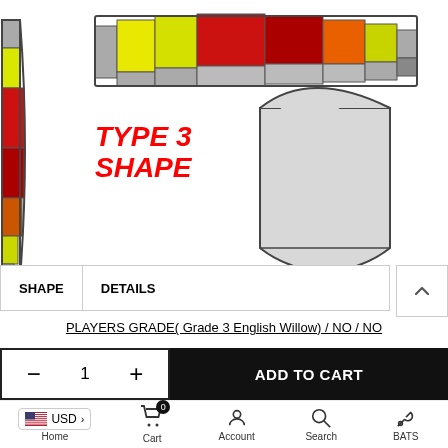[Figure (illustration): Cricket bat shape diagram showing TYPE 3 SHAPE - top view of bat face with colored stress/grade zones (grey, yellow, red, orange) and side profile view on left, plus a front face outline view on right showing concave shape]
TYPE 3
SHAPE
| SHAPE | DETAILS |
| --- | --- |
PLAYERS GRADE( Grade 3 English Willow) / NO / NO
1
ADD TO CART
USD > | Cart 0 | Account | Search | BATS | Home